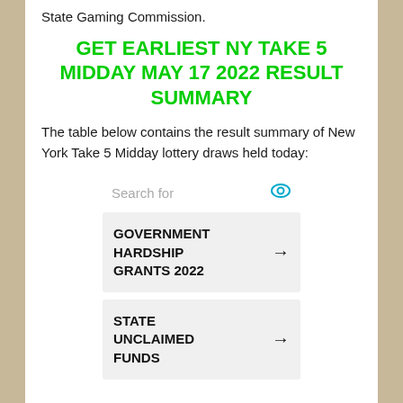State Gaming Commission.
GET EARLIEST NY TAKE 5 MIDDAY MAY 17 2022 RESULT SUMMARY
The table below contains the result summary of New York Take 5 Midday lottery draws held today:
[Figure (other): Advertisement widget with a search bar labeled 'Search for' with an eye icon, and two ad cards: 'GOVERNMENT HARDSHIP GRANTS 2022' with arrow, and 'STATE UNCLAIMED FUNDS' with arrow.]